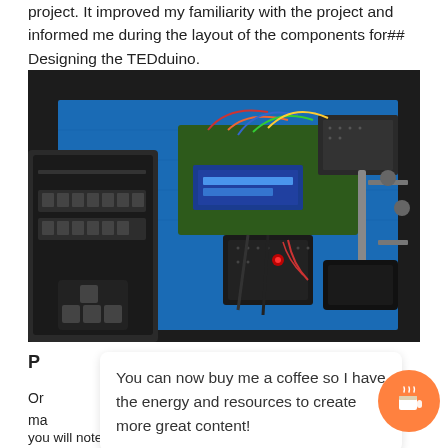project. It improved my familiarity with the project and informed me during the layout of the components for## Designing the TEDduino.
[Figure (photo): Photo of an electronics workbench showing an Arduino-based prototype (TEDduino) with breadboards, LCD display, wires, and components on a blue anti-static mat. A vintage keyboard is visible on the left side. Various tools including a helping-hands tool are visible on the right.]
P… …are
You can now buy me a coffee so I have the energy and resources to create more great content!
Or… …'s a
ma… …my
you will note that I installed the software before